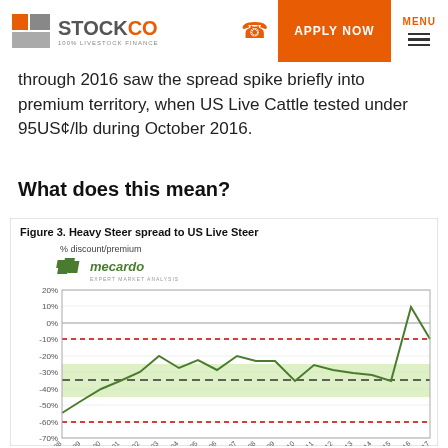STOCKCO 100% LIVESTOCK FINANCE — APPLY NOW — MENU
through 2016 saw the spread spike briefly into premium territory, when US Live Cattle tested under 95US¢/lb during October 2016.
What does this mean?
[Figure (line-chart): Line chart showing Heavy Steer spread to US Live Steer as % discount/premium from 1998 to 2017. A green shaded band around the average (-35%), black dashed average line, red dashed lines at -10% and -60%. The line spikes to ~10% premium in 2016-2017.]